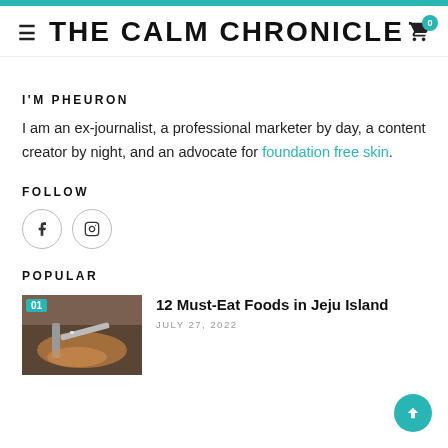THE CALM CHRONICLE
I'M PHEURON
I am an ex-journalist, a professional marketer by day, a content creator by night, and an advocate for foundation free skin.
FOLLOW
[Figure (other): Social media icons: Facebook and Instagram circular buttons]
POPULAR
[Figure (photo): Food being served with chopsticks, number 01 badge overlay, thumbnail for article]
12 Must-Eat Foods in Jeju Island
JULY 27, 2022